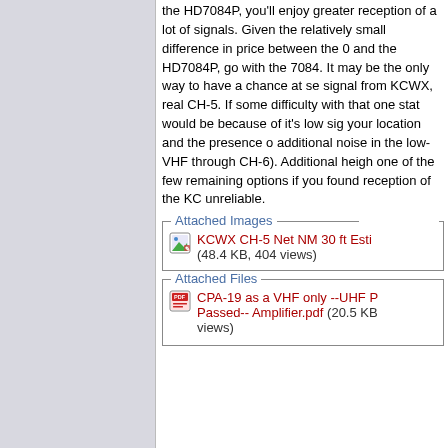the HD7084P, you'll enjoy greater reception of a lot of signals. Given the relatively small difference in price between the 0 and the HD7084P, go with the 7084. It may be the only way to have a chance at seeing the signal from KCWX, real CH-5. If you have some difficulty with that one station, it would be because of it's low signal at your location and the presence of additional noise in the low-VHF band (CH-2 through CH-6). Additional height would be one of the few remaining options, especially if you found reception of the KCWX signal unreliable.
Attached Images
KCWX CH-5 Net NM 30 ft Esti... (48.4 KB, 404 views)
Attached Files
CPA-19 as a VHF only --UHF Passed-- Amplifier.pdf (20.5 KB... views)
Post Reply
Page 1 of
Bookmarks